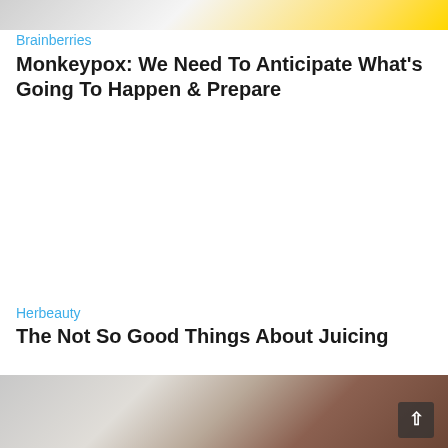[Figure (photo): Partial image at top of page, showing blurred figures with yellow element visible]
Brainberries
Monkeypox: We Need To Anticipate What's Going To Happen & Prepare
Herbeauty
The Not So Good Things About Juicing
[Figure (photo): Bottom portion of classical artwork or fresco showing figures, partially cropped]